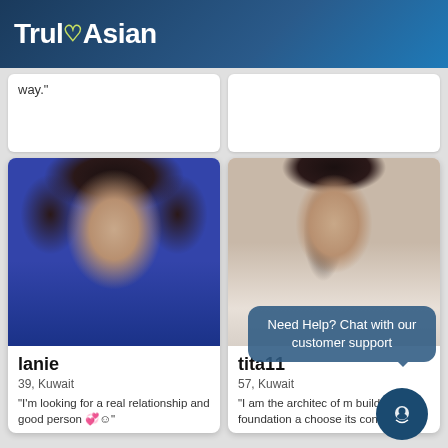TrulyAsian
way."
[Figure (photo): Partial white card with text 'way.' visible at top left]
[Figure (photo): Partial white card, mostly empty, top right]
[Figure (photo): Profile photo of woman named lanie, dark hair, blue shirt, Kuwait]
lanie
39, Kuwait
"I'm looking for a real relationship and good person 💙☺"
[Figure (photo): Profile photo of woman named tita11, long dark hair, light jacket, Kuwait]
tita11
57, Kuwait
"I am the architec of m build the foundation a choose its contents.."
Need Help? Chat with our customer support